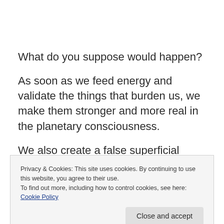What do you suppose would happen?
As soon as we feed energy and validate the things that burden us, we make them stronger and more real in the planetary consciousness.
We also create a false superficial consciousness within our own reality. This fake consciousness works in cahoots
Privacy & Cookies: This site uses cookies. By continuing to use this website, you agree to their use.
To find out more, including how to control cookies, see here: Cookie Policy
We are so conditioned to believe the lie of the existence of